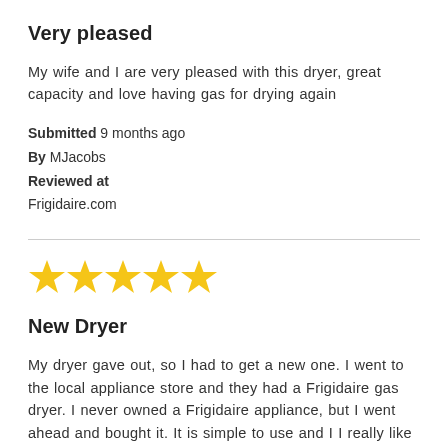Very pleased
My wife and I are very pleased with this dryer, great capacity and love having gas for drying again
Submitted 9 months ago
By MJacobs
Reviewed at
Frigidaire.com
[Figure (other): 5 gold stars rating]
New Dryer
My dryer gave out, so I had to get a new one. I went to the local appliance store and they had a Frigidaire gas dryer. I never owned a Frigidaire appliance, but I went ahead and bought it. It is simple to use and I I really like the heat setting on it. It allows things to dry as much as I want them to be. I also like the the different cycles from creating your own by setting the dryness and the heat level. The drum size is great. It can hold my king-size bedding. Great